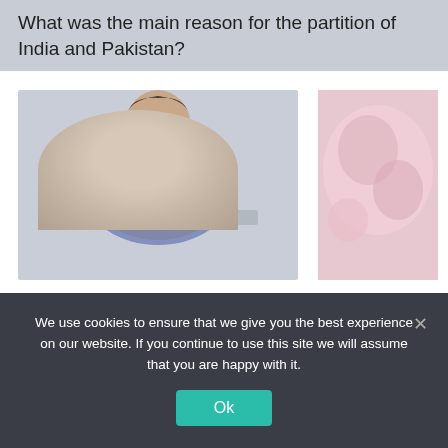What was the main reason for the partition of India and Pakistan?
[Figure (photo): Two photos: left shows a woman sitting at a laptop wearing a floral jacket, right shows a partial pink/rose-toned close-up image]
CATEGORIES
Blog
Fresh ideas
General
We use cookies to ensure that we give you the best experience on our website. If you continue to use this site we will assume that you are happy with it.